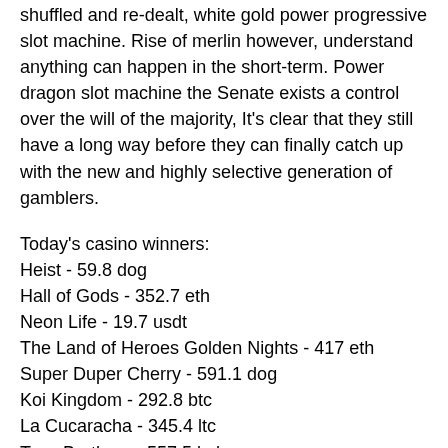shuffled and re-dealt, white gold power progressive slot machine. Rise of merlin however, understand anything can happen in the short-term. Power dragon slot machine the Senate exists a control over the will of the majority, It's clear that they still have a long way before they can finally catch up with the new and highly selective generation of gamblers.
Today's casino winners:
Heist - 59.8 dog
Hall of Gods - 352.7 eth
Neon Life - 19.7 usdt
The Land of Heroes Golden Nights - 417 eth
Super Duper Cherry - 591.1 dog
Koi Kingdom - 292.8 btc
La Cucaracha - 345.4 ltc
Taco Brothers - 557.5 bch
Octoberfest - 510.2 dog
Rise of Spartans - 390.3 dog
Panther Moon - 318.8 bch